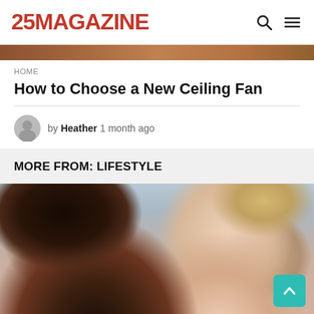25MAGAZINE
[Figure (photo): Decorative header image strip with warm brown tones]
HOME
How to Choose a New Ceiling Fan
by Heather 1 month ago
MORE FROM: LIFESTYLE
[Figure (photo): A couple embracing, man behind woman, both looking at camera, lifestyle photo]